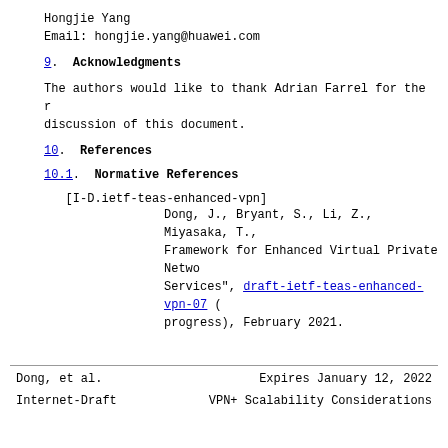Hongjie Yang
Email: hongjie.yang@huawei.com
9.  Acknowledgments
The authors would like to thank Adrian Farrel for the r
discussion of this document.
10.  References
10.1.  Normative References
[I-D.ietf-teas-enhanced-vpn]
        Dong, J., Bryant, S., Li, Z., Miyasaka, T.,
        Framework for Enhanced Virtual Private Netwo
        Services", draft-ietf-teas-enhanced-vpn-07 (
        progress), February 2021.
Dong, et al.          Expires January 12, 2022
Internet-Draft        VPN+ Scalability Considerations